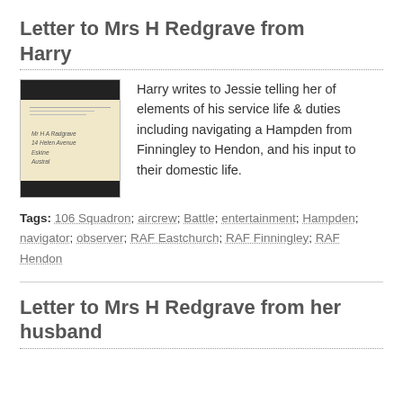Letter to Mrs H Redgrave from Harry
[Figure (photo): Thumbnail image of a handwritten letter on aged paper with dark bars at top and bottom, showing handwritten address text.]
Harry writes to Jessie telling her of elements of his service life & duties including navigating a Hampden from Finningley to Hendon, and his input to their domestic life.
Tags: 106 Squadron; aircrew; Battle; entertainment; Hampden; navigator; observer; RAF Eastchurch; RAF Finningley; RAF Hendon
Letter to Mrs H Redgrave from her husband